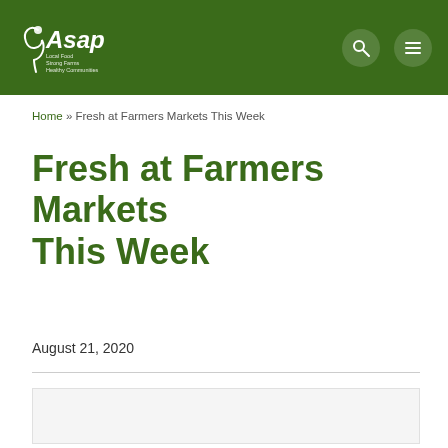ASAP — Local Food, Strong Farms, Healthy Communities
Home » Fresh at Farmers Markets This Week
Fresh at Farmers Markets This Week
August 21, 2020
[Figure (photo): Image placeholder below the article date, light gray background]